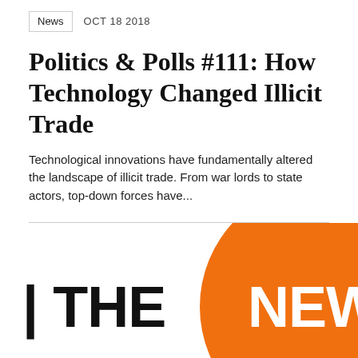News  OCT 18 2018
Politics & Polls #111: How Technology Changed Illicit Trade
Technological innovations have fundamentally altered the landscape of illicit trade. From war lords to state actors, top-down forces have...
[Figure (logo): Logo showing 'I THE NEWS' with 'THE' in large black bold text and 'NEWS' in large white bold text on an orange circle background]